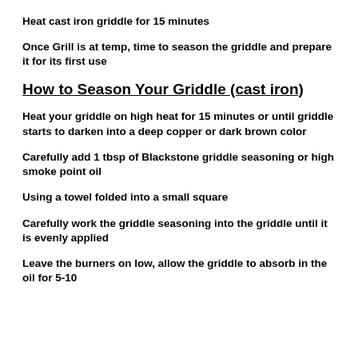Heat cast iron griddle for 15 minutes
Once Grill is at temp, time to season the griddle and prepare it for its first use
How to Season Your Griddle (cast iron)
Heat your griddle on high heat for 15 minutes or until griddle starts to darken into a deep copper or dark brown color
Carefully add 1 tbsp of Blackstone griddle seasoning or high smoke point oil
Using a towel folded into a small square
Carefully work the griddle seasoning into the griddle until it is evenly applied
Leave the burners on low, allow the griddle to absorb in the oil for 5-10